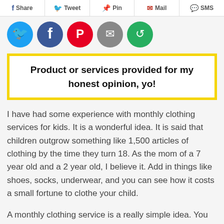Share | Tweet | Pin | Mail | SMS
[Figure (infographic): Social sharing icon circles: Twitter (blue), Facebook (dark blue), Pinterest (red), Mail (gray), SMS (green)]
Product or services provided for my honest opinion, yo!
I have had some experience with monthly clothing services for kids. It is a wonderful idea. It is said that children outgrow something like 1,500 articles of clothing by the time they turn 18. As the mom of a 7 year old and a 2 year old, I believe it. Add in things like shoes, socks, underwear, and you can see how it costs a small fortune to clothe your child.
A monthly clothing service is a really simple idea. You sign up, pay a small fee and then once a month you get a